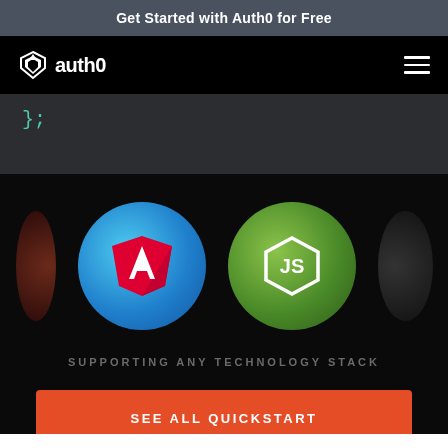Get Started with Auth0 for Free
[Figure (logo): Auth0 logo with shield icon and text 'auth0' in white on black nav bar, with hamburger menu icon on right]
};
[Figure (illustration): Technology stack icons: Angular (red A on blue circle) and Node.js (JS hexagon on green circle) with partial circles on edges, on black background. Text: SUPPORTING ANY TECHNOLOGY STACK. Orange button: SEE ALL QUICKSTART]